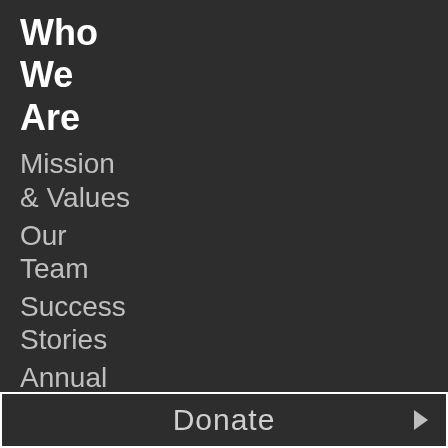Who We Are
Mission & Values
Our Team
Success Stories
Annual Report
Media
Resources
Foundation
Donate